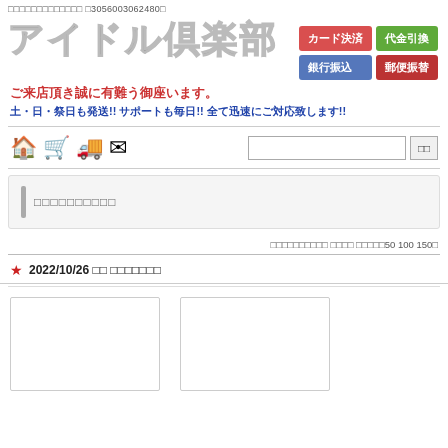□□□□□□□□□□□□□ □3056003062480
アイドル倶楽部
[Figure (infographic): Payment method buttons: カード決済 (red), 代金引換 (green), 銀行振込 (blue), 郵便振替 (red)]
ご来店頂き誠に有難う御座います。
土・日・祭日も発送!! サポートも毎日!! 全て迅速にご対応致します!!
[Figure (infographic): Navigation icons: home, cart, truck/shipping, mail]
[Figure (infographic): Search box with search button]
□□□□□□□□□□
□□□□□□□□□□ □□□□ □□□□□50 100 150□
★ 2022/10/26 □□ □□□□□□□
[Figure (photo): Two product image placeholder boxes side by side]